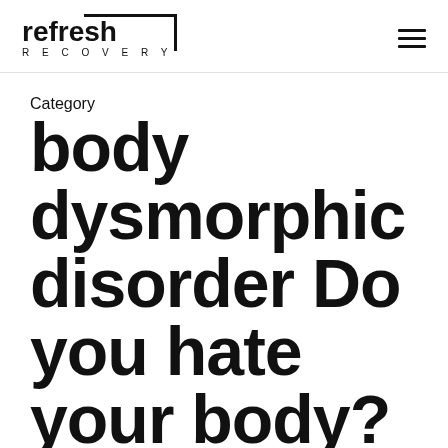refresh RECOVERY
Category
body dysmorphic disorder Do you hate your body?